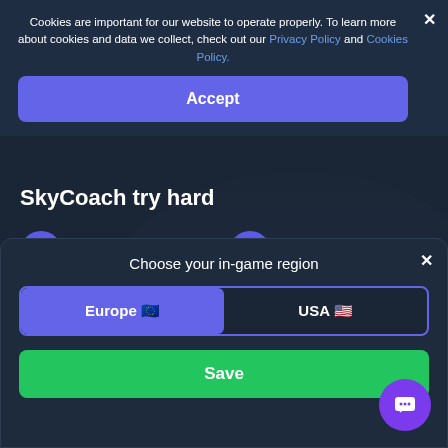Cookies are important for our website to operate properly. To learn more about cookies and data we collect, check out our Privacy Policy and Cookies Policy.
Accept
SkyCoach try hard
PRO players in support team
Our own boost team
VPN
Money back
Choose your in-game region
Europe 🇪🇺
USA 🇺🇸
Save